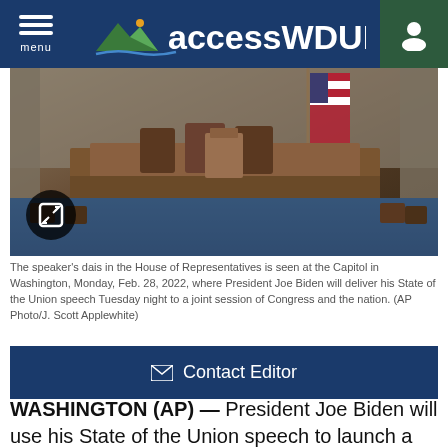accessWDUN
[Figure (photo): The speaker's dais in the House of Representatives chamber at the US Capitol, showing wooden furniture, American flag, and chairs, taken Feb. 28, 2022]
The speaker's dais in the House of Representatives is seen at the Capitol in Washington, Monday, Feb. 28, 2022, where President Joe Biden will deliver his State of the Union speech Tuesday night to a joint session of Congress and the nation. (AP Photo/J. Scott Applewhite)
Contact Editor
WASHINGTON (AP) — President Joe Biden will use his State of the Union speech to launch a major